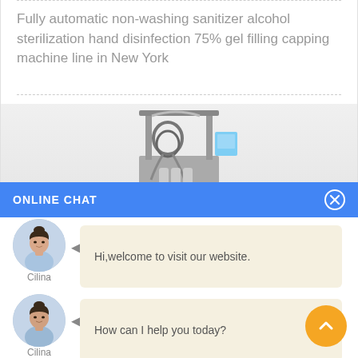Fully automatic non-washing sanitizer alcohol sterilization hand disinfection 75% gel filling capping machine line in New York
[Figure (photo): Photo of an industrial filling and capping machine, partially visible, gray equipment with tubes and mechanical components]
ONLINE CHAT
[Figure (illustration): Avatar portrait of a female chat agent named Cilina in a light blue shirt]
Hi,welcome to visit our website.
Cilina
[Figure (illustration): Avatar portrait of the same female chat agent Cilina in a light blue shirt]
How can I help you today?
Cilina